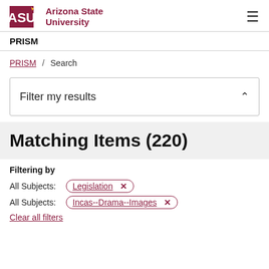Arizona State University — PRISM
PRISM
PRISM / Search
Filter my results
Matching Items (220)
Filtering by
All Subjects: Legislation ×
All Subjects: Incas--Drama--Images ×
Clear all filters